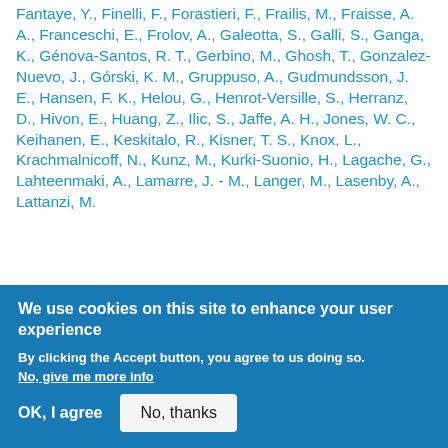Fantaye, Y., Finelli, F., Forastieri, F., Frailis, M., Fraisse, A. A., Franceschi, E., Frolov, A., Galeotta, S., Galli, S., Ganga, K., Génova-Santos, R. T., Gerbino, M., Ghosh, T., Gonzalez-Nuevo, J., Górski, K. M., Gruppuso, A., Gudmundsson, J. E., Hansen, F. K., Helou, G., Henrot-Versille, S., Herranz, D., Hivon, E., Huang, Z., Ilic, S., Jaffe, A. H., Jones, W. C., Keihanen, E., Keskitalo, R., Kisner, T. S., Knox, L., Krachmalnicoff, N., Kunz, M., Kurki-Suonio, H., Lagache, G., Lahteenmaki, A., Lamarre, J. - M., Langer, M., Lasenby, A., Lattanzi, M. ...
[Figure (screenshot): Cookie consent overlay banner with blue background. Title: 'We use cookies on this site to enhance your user experience'. Body text: 'By clicking the Accept button, you agree to us doing so.' Link: 'No, give me more info'. Buttons: 'OK, I agree' and 'No, thanks'.]